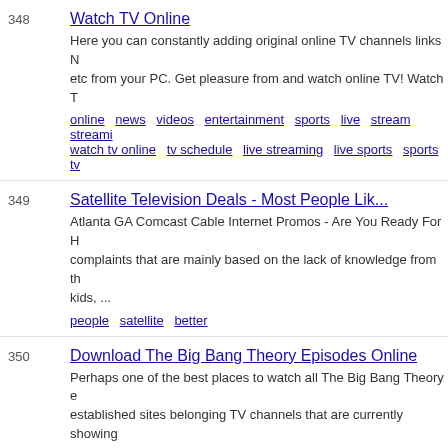348 Watch TV Online - Here you can constantly adding original online TV channels links N etc from your PC. Get pleasure from and watch online TV! Watch T - Tags: online news videos entertainment sports live stream streami watch tv online tv schedule live streaming live sports sports tv
349 Satellite Television Deals - Most People Lik... - Atlanta GA Comcast Cable Internet Promos - Are You Ready For H complaints that are mainly based on the lack of knowledge from th kids, ... - Tags: people satellite better
350 Download The Big Bang Theory Episodes Online - Perhaps one of the best places to watch all The Big Bang Theory e established sites belonging TV channels that are currently showing - Tags: download online the big theory bang episodes
Pagination: 1 2 3 4 5 6 ... 35 45 46 47 48 49 50 Z